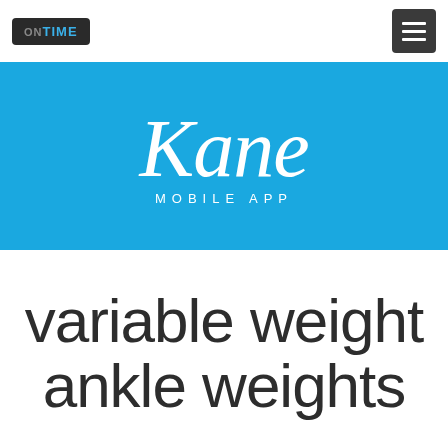ON TIME | Kane Mobile App navigation bar
[Figure (logo): Blue banner with 'Kane Mobile App' script logo in white on bright blue background]
variable weight ankle weights